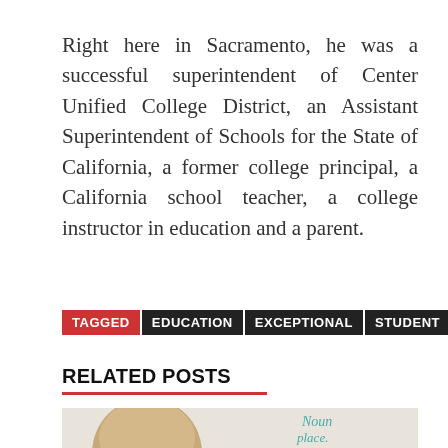Right here in Sacramento, he was a successful superintendent of Center Unified College District, an Assistant Superintendent of Schools for the State of California, a former college principal, a California school teacher, a college instructor in education and a parent.
TAGGED  EDUCATION  EXCEPTIONAL  STUDENT
RELATED POSTS
[Figure (photo): A person with blonde hair viewed from behind, standing in front of a whiteboard with the words 'Noun place.' written on it in teal/green marker.]